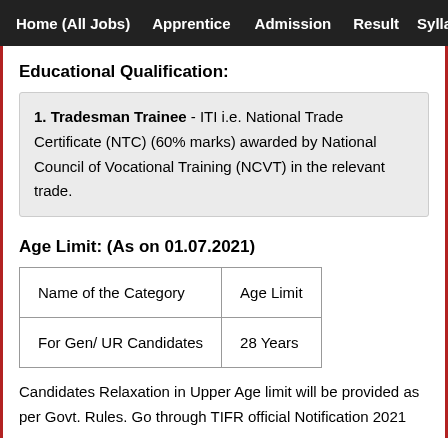Home (All Jobs)   Apprentice   Admission   Result   Sylla
Educational Qualification:
1. Tradesman Trainee - ITI i.e. National Trade Certificate (NTC) (60% marks) awarded by National Council of Vocational Training (NCVT) in the relevant trade.
Age Limit: (As on 01.07.2021)
| Name of the Category | Age Limit |
| --- | --- |
| For Gen/ UR Candidates | 28 Years |
Candidates Relaxation in Upper Age limit will be provided as per Govt. Rules. Go through TIFR official Notification 2021